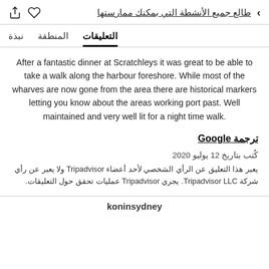طالع جميع الأنشطة التي بمكنك ممارستها
نبذة   المنطقة   التعليقات
After a fantastic dinner at Scratchleys it was great to be able to take a walk along the harbour foreshore. While most of the wharves are now gone from the area there are historical markers letting you know about the areas working port past. Well maintained and very well lit for a night time walk.
ترجمة Google
كُتب بتاريخ 12 يوليو 2020
يعبر هذا التعليق عن الرأي الشخصي لأحد أعضاء Tripadvisor ولا يعبر عن رأي شركة Tripadvisor LLC. يجري Tripadvisor عمليات تحقق حول التعليقات.
koninsydney